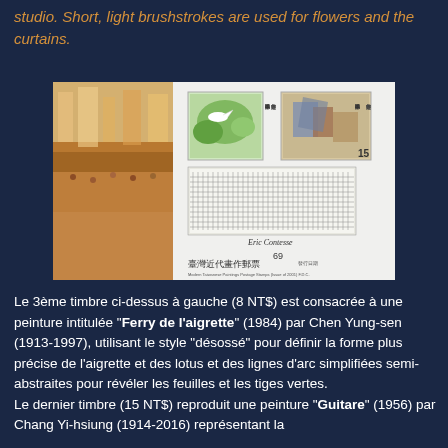studio. Short, light brushstrokes are used for flowers and the curtains.
[Figure (photo): A philatelic first day cover featuring Modern Taiwanese Paintings Postage Stamps, showing colorful paintings including a city scene and stamps with Chinese artwork. The envelope shows stamps and Chinese text reading 臺灣近代畫作郵票 (Modern Taiwanese Paintings Postage Stamps).]
Le 3ème timbre ci-dessus à gauche (8 NT$) est consacrée à une peinture intitulée "Ferry de l'aigrette" (1984) par Chen Yung-sen (1913-1997), utilisant le style "désossé" pour définir la forme plus précise de l'aigrette et des lotus et des lignes d'arc simplifiées semi-abstraites pour révéler les feuilles et les tiges vertes.
Le dernier timbre (15 NT$) reproduit une peinture "Guitare" (1956) par Chang Yi-hsiung (1914-2016) représentant la